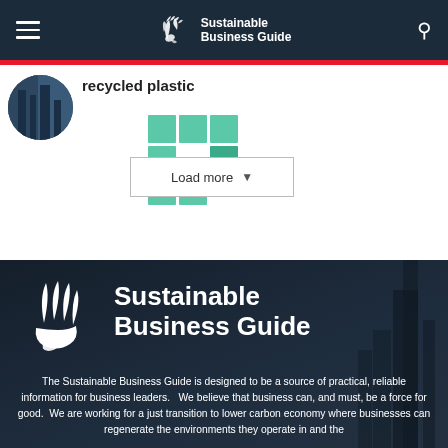Sustainable Business Guide
recycled plastic
[Figure (infographic): Teal/green grid pattern of squares used as decorative element]
Load more
[Figure (logo): Sustainable Business Guide logo — white hand/leaf icon with white bold text on dark navy background]
The Sustainable Business Guide is designed to be a source of practical, reliable information for business leaders.   We believe that business can, and must, be a force for good.  We are working for a just transition to lower carbon economy where businesses can regenerate the environments they operate in and the